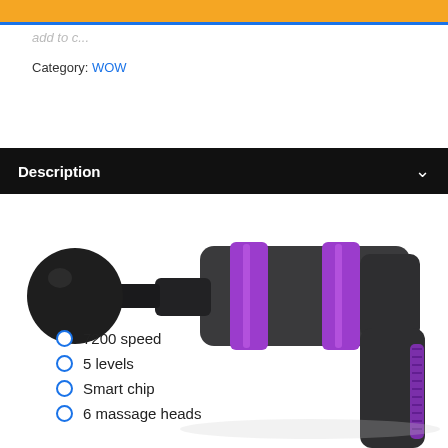Category: WOW
Description
[Figure (photo): A massage gun with black and dark grey body, purple/violet metallic accent rings around the barrel, and a black spherical massage head attachment. The handle is T-shaped with a purple grip strip.]
7200 speed
5 levels
Smart chip
6 massage heads